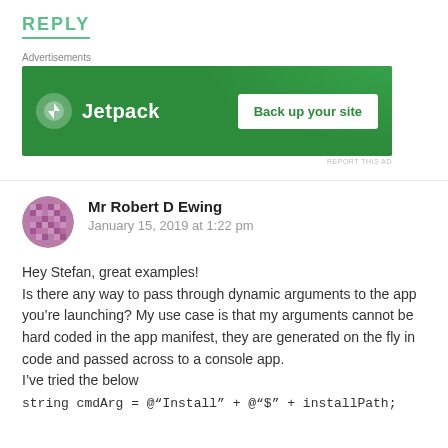REPLY
[Figure (other): Jetpack advertisement banner with logo and 'Back up your site' button on green background]
Advertisements
REPORT THIS AD
Mr Robert D Ewing
January 15, 2019 at 1:22 pm
Hey Stefan, great examples!
Is there any way to pass through dynamic arguments to the app you’re launching? My use case is that my arguments cannot be hard coded in the app manifest, they are generated on the fly in code and passed across to a console app.
I’ve tried the below
string cmdArg = @"Install" + @"$" + installPath;